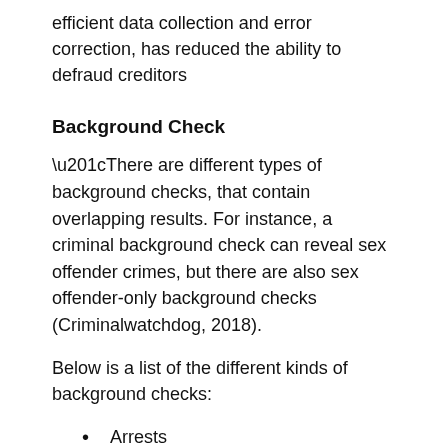efficient data collection and error correction, has reduced the ability to defraud creditors
Background Check
“There are different types of background checks, that contain overlapping results. For instance, a criminal background check can reveal sex offender crimes, but there are also sex offender-only background checks (Criminalwatchdog, 2018).
Below is a list of the different kinds of background checks:
Arrests
Convictions of felonies and misdemeanors
Court records (dockets, judgements, etc.)